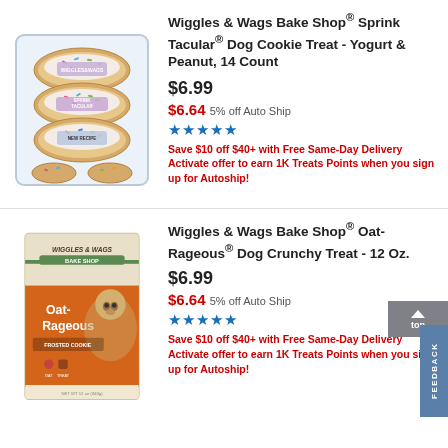[Figure (photo): Wiggles & Wags Bake Shop Sprink Tacular dog cookies in clear plastic tray with colorful sprinkles]
Wiggles & Wags Bake Shop® Sprink Tacular® Dog Cookie Treat - Yogurt & Peanut, 14 Count
$6.99
$6.64 5% off Auto Ship
★★★★★
Save $10 off $40+ with Free Same-Day Delivery Activate offer to earn 1K Treats Points when you sign up for Autoship!
[Figure (photo): Wiggles & Wags Bake Shop Oat-Rageous dog crunchy treat box, orange and cream colored packaging with dog illustration]
Wiggles & Wags Bake Shop® Oat-Rageous® Dog Crunchy Treat - 12 Oz.
$6.99
$6.64 5% off Auto Ship
★★★★★
Save $10 off $40+ with Free Same-Day Delivery Activate offer to earn 1K Treats Points when you sign up for Autoship!